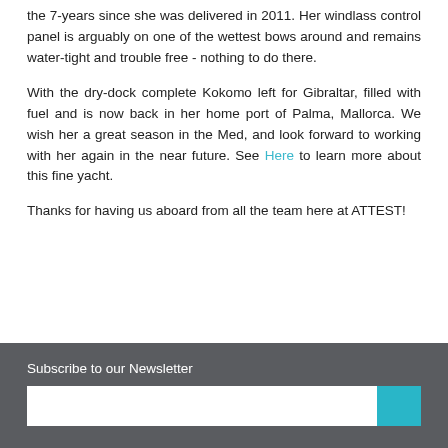the 7-years since she was delivered in 2011. Her windlass control panel is arguably on one of the wettest bows around and remains water-tight and trouble free - nothing to do there.
With the dry-dock complete Kokomo left for Gibraltar, filled with fuel and is now back in her home port of Palma, Mallorca. We wish her a great season in the Med, and look forward to working with her again in the near future. See Here to learn more about this fine yacht.
Thanks for having us aboard from all the team here at ATTEST!
Subscribe to our Newsletter